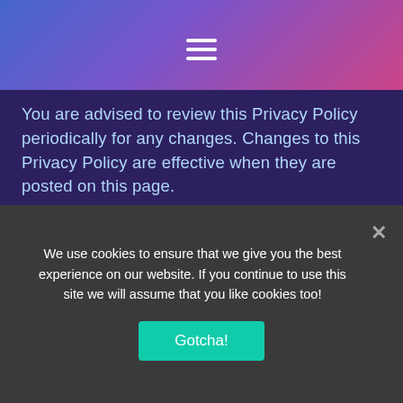[Figure (other): Navigation header bar with gradient background (blue to pink) and hamburger menu icon (three white horizontal lines)]
You are advised to review this Privacy Policy periodically for any changes. Changes to this Privacy Policy are effective when they are posted on this page.
Contact Information
Luxmicro, LLC
www.luxmicro.com
We use cookies to ensure that we give you the best experience on our website. If you continue to use this site we will assume that you like cookies too!